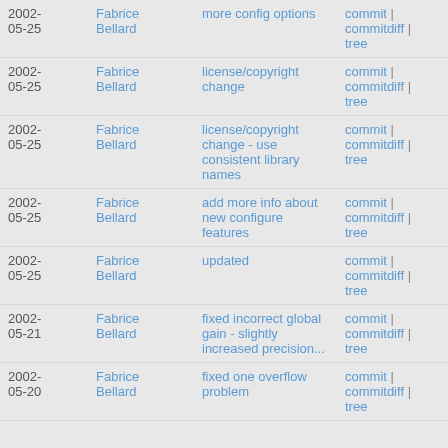| Date | Author | Message | Links |
| --- | --- | --- | --- |
| 2002-05-25 | Fabrice Bellard | more config options | commit | commitdiff | tree |
| 2002-05-25 | Fabrice Bellard | license/copyright change | commit | commitdiff | tree |
| 2002-05-25 | Fabrice Bellard | license/copyright change - use consistent library names | commit | commitdiff | tree |
| 2002-05-25 | Fabrice Bellard | add more info about new configure features | commit | commitdiff | tree |
| 2002-05-25 | Fabrice Bellard | updated | commit | commitdiff | tree |
| 2002-05-21 | Fabrice Bellard | fixed incorrect global gain - slightly increased precision... | commit | commitdiff | tree |
| 2002-05-20 | Fabrice Bellard | fixed one overflow problem | commit | commitdiff | tree |